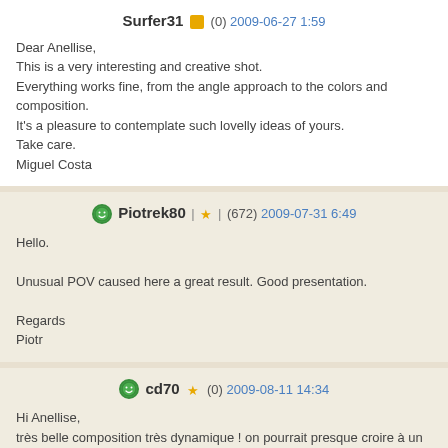Surfer31 (0) 2009-06-27 1:59
Dear Anellise,
This is a very interesting and creative shot.
Everything works fine, from the angle approach to the colors and composition.
It's a pleasure to contemplate such lovelly ideas of yours.
Take care.
Miguel Costa
Piotrek80 (672) 2009-07-31 6:49
Hello.

Unusual POV caused here a great result. Good presentation.

Regards
Piotr
cd70 (0) 2009-08-11 14:34
Hi Anellise,
très belle composition très dynamique ! on pourrait presque croire à un petit cli... est bleu blanc rouge... encore bravo pour cette vision originale !!